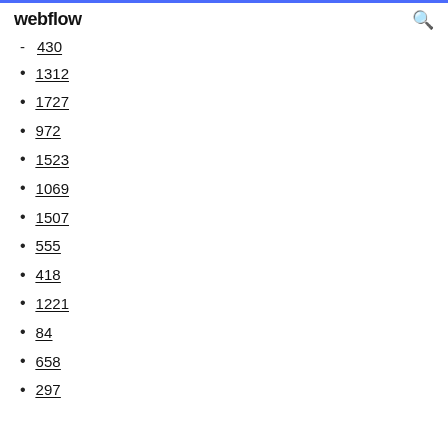webflow
430
1312
1727
972
1523
1069
1507
555
418
1221
84
658
297